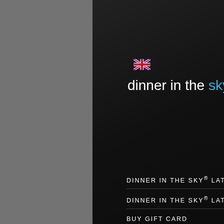[Figure (screenshot): UK flag icon]
dinner in the sky.lv
DINNER IN THE SKY® LATVIA
DINNER IN THE SKY® LATVIA
BUY GIFT CARD
VIDEO
CHEFS IN THE SKY
CONTACT
GALLERY
CHEFS IN THE SKY
GALLERY
[Figure (screenshot): Right sidebar with social media icons (Facebook, Flickr, YouTube, Mail) and a dark red photo]
Sandro (5... considera... Espresso ... sommelie... awarded ... attracting... place wor...